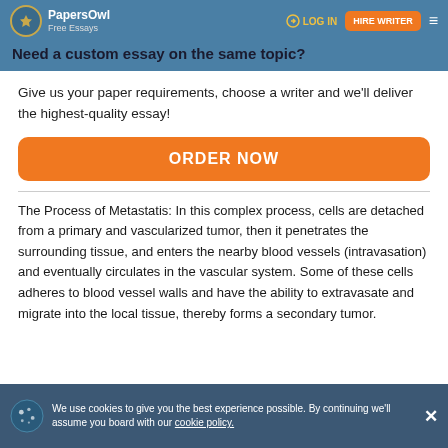PapersOwl Free Essays | LOG IN | HIRE WRITER
Need a custom essay on the same topic?
Give us your paper requirements, choose a writer and we'll deliver the highest-quality essay!
ORDER NOW
The Process of Metastatis: In this complex process, cells are detached from a primary and vascularized tumor, then it penetrates the surrounding tissue, and enters the nearby blood vessels (intravasation) and eventually circulates in the vascular system. Some of these cells adheres to blood vessel walls and have the ability to extravasate and migrate into the local tissue, thereby forms a secondary tumor.
We use cookies to give you the best experience possible. By continuing we'll assume you board with our cookie policy.